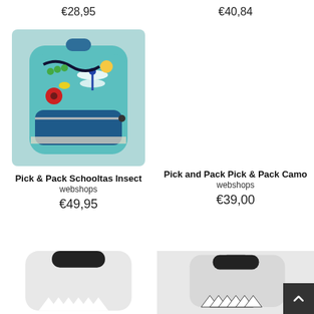€28,95
€40,84
[Figure (photo): Blue insect-patterned children's backpack (Pick & Pack Schooltas Insect)]
Pick & Pack Schooltas Insect
webshops
€49,95
Pick and Pack Pick & Pack Camo
webshops
€39,00
[Figure (photo): Shark-themed children's backpack top portion, left side]
[Figure (photo): Shark-themed children's backpack top portion, right side]